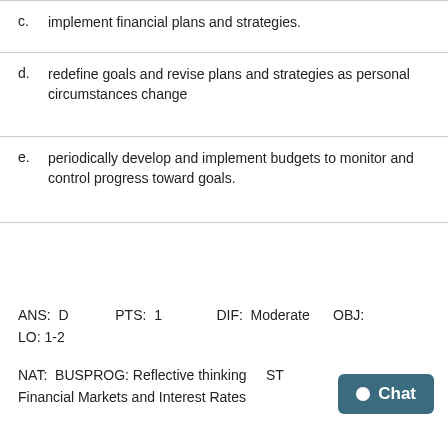c.    implement financial plans and strategies.
d.    redefine goals and revise plans and strategies as personal circumstances change
e.    periodically develop and implement budgets to monitor and control progress toward goals.
ANS: D    PTS: 1    DIF: Moderate    OBJ: LO: 1-2
NAT: BUSPROG: Reflective thinking    ST Financial Markets and Interest Rates